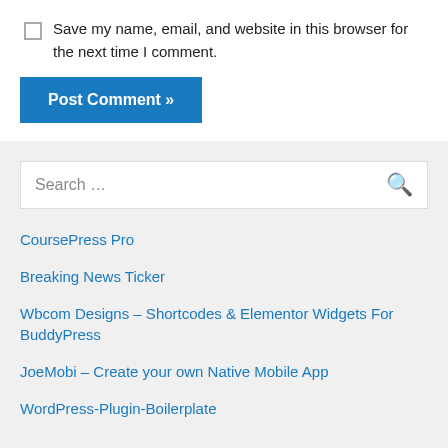Save my name, email, and website in this browser for the next time I comment.
Post Comment »
Search …
CoursePress Pro
Breaking News Ticker
Wbcom Designs – Shortcodes & Elementor Widgets For BuddyPress
JoeMobi – Create your own Native Mobile App
WordPress-Plugin-Boilerplate